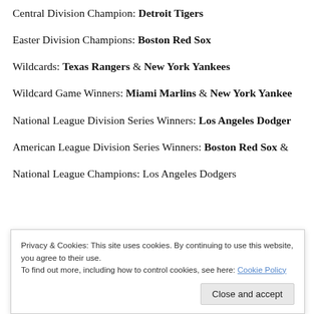Central Division Champion: Detroit Tigers
Easter Division Champions: Boston Red Sox
Wildcards: Texas Rangers & New York Yankees
Wildcard Game Winners: Miami Marlins & New York Yankees
National League Division Series Winners: Los Angeles Dodgers
American League Division Series Winners: Boston Red Sox &
National League Champions: Los Angeles Dodgers
Privacy & Cookies: This site uses cookies. By continuing to use this website, you agree to their use.
To find out more, including how to control cookies, see here: Cookie Policy